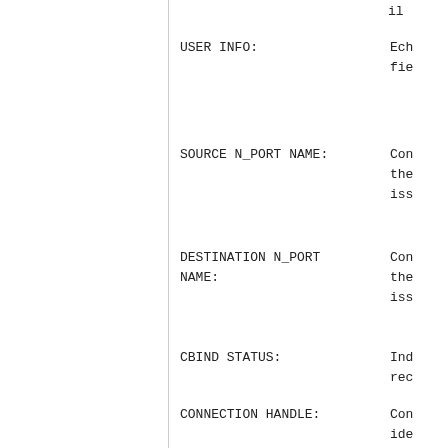il
USER INFO:   Ech
fie
SOURCE N_PORT NAME:   Con
the
iss
DESTINATION N_PORT NAME:   Con
the
iss
CBIND STATUS:   Ind
rec
CONNECTION HANDLE:   Con
ide
han
rec